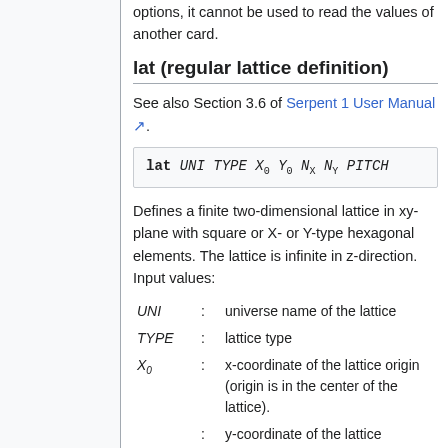options, it cannot be used to read the values of another card.
lat (regular lattice definition)
See also Section 3.6 of Serpent 1 User Manual.
Defines a finite two-dimensional lattice in xy-plane with square or X- or Y-type hexagonal elements. The lattice is infinite in z-direction. Input values:
UNI : universe name of the lattice
TYPE : lattice type
X_0 : x-coordinate of the lattice origin (origin is in the center of the lattice).
Y_0 : y-coordinate of the lattice